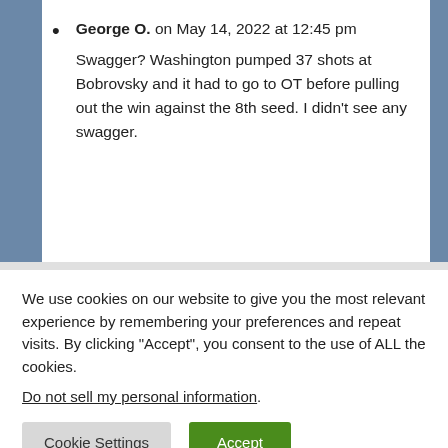George O. on May 14, 2022 at 12:45 pm
Swagger? Washington pumped 37 shots at Bobrovsky and it had to go to OT before pulling out the win against the 8th seed. I didn't see any swagger.
We use cookies on our website to give you the most relevant experience by remembering your preferences and repeat visits. By clicking “Accept”, you consent to the use of ALL the cookies.
Do not sell my personal information.